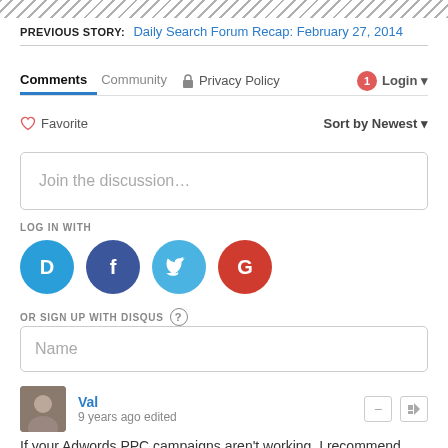PREVIOUS STORY: Daily Search Forum Recap: February 27, 2014
Comments  Community  Privacy Policy  Login
Favorite  Sort by Newest
Join the discussion…
LOG IN WITH
[Figure (other): Social login icons: Disqus (D), Facebook (F), Twitter bird, Google (G)]
OR SIGN UP WITH DISQUS ?
Name
Val
9 years ago edited
If your Adwords PPC campaigns aren't working, I recommend